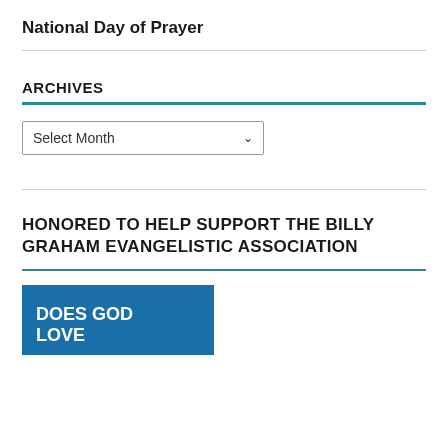National Day of Prayer
ARCHIVES
Select Month
HONORED TO HELP SUPPORT THE BILLY GRAHAM EVANGELISTIC ASSOCIATION
[Figure (other): Blue image box with white bold text reading DOES GOD LOVE]